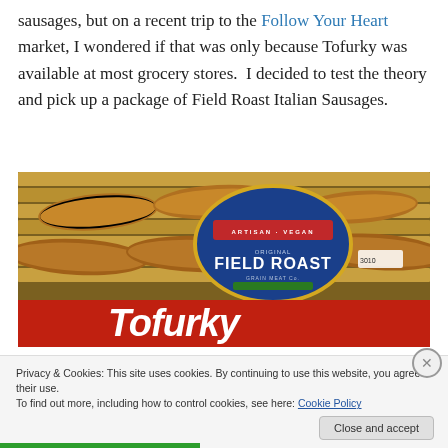sausages, but on a recent trip to the Follow Your Heart market, I wondered if that was only because Tofurky was available at most grocery stores.  I decided to test the theory and pick up a package of Field Roast Italian Sausages.
[Figure (photo): Photo showing Field Roast and Tofurky sausage packages side by side on a store shelf, with wooden slats visible in the background. The Field Roast label is circular and blue, and the Tofurky brand appears on a red banner at the bottom.]
Privacy & Cookies: This site uses cookies. By continuing to use this website, you agree to their use.
To find out more, including how to control cookies, see here: Cookie Policy